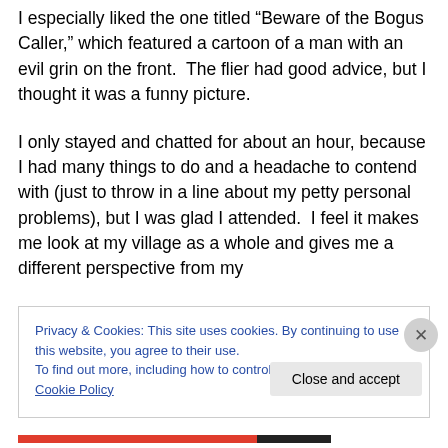I especially liked the one titled “Beware of the Bogus Caller,” which featured a cartoon of a man with an evil grin on the front.  The flier had good advice, but I thought it was a funny picture.
I only stayed and chatted for about an hour, because I had many things to do and a headache to contend with (just to throw in a line about my petty personal problems), but I was glad I attended.  I feel it makes me look at my village as a whole and gives me a different perspective from my
Privacy & Cookies: This site uses cookies. By continuing to use this website, you agree to their use.
To find out more, including how to control cookies, see here: Cookie Policy